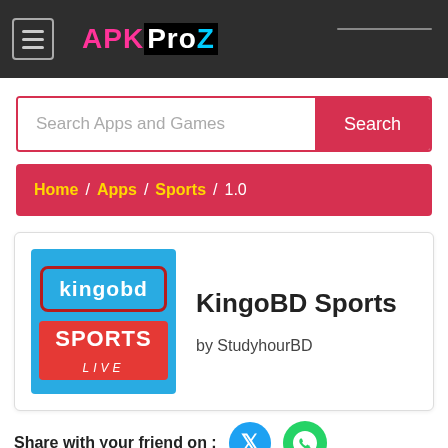APKProZ
Search Apps and Games
Search
Home / Apps / Sports / 1.0
[Figure (logo): KingoBD Sports app icon — blue background with 'kingobd' in white with red border, 'SPORTS' in red badge, 'LIVE' in italic below]
KingoBD Sports
by StudyhourBD
Share with your friend on :
KingoBD Sports detail information